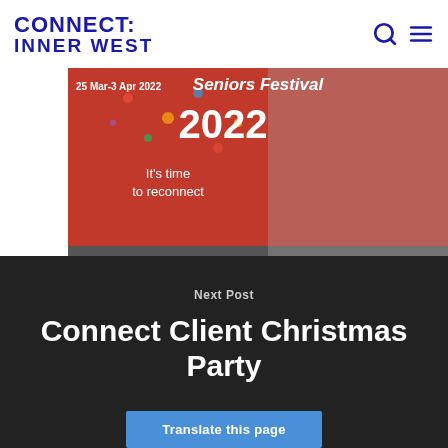CONNECT: INNER WEST
[Figure (photo): Seniors Festival 2022 promotional banner with an excited elderly woman on a red background with confetti. Text reads '25 Mar-3 Apr 2022', 'Seniors Festival', '2022', 'It's time to reconnect']
Next Post
Connect Client Christmas Party
Translate this page